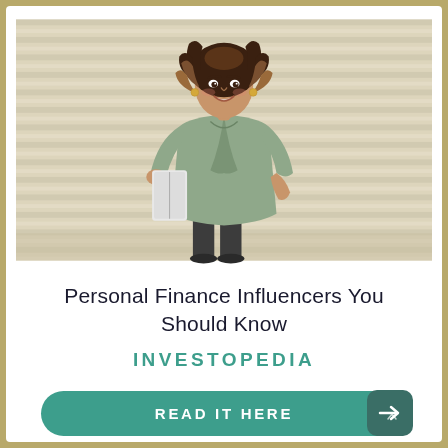[Figure (photo): A woman with curly hair wearing a sage green wrap dress, holding a white binder or folder, standing in front of a corrugated metal or striped wall background. She is smiling and posing with one hand on her hip.]
Personal Finance Influencers You Should Know
INVESTOPEDIA
READ IT HERE